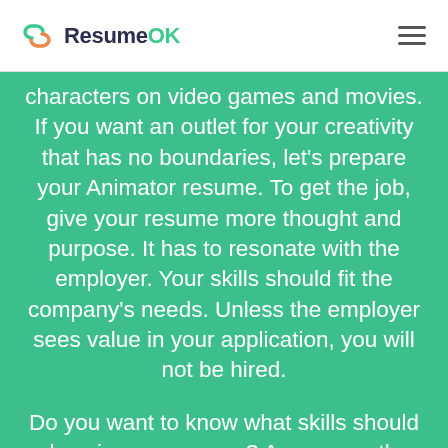ResumeOK
characters on video games and movies. If you want an outlet for your creativity that has no boundaries, let's prepare your Animator resume. To get the job, give your resume more thought and purpose. It has to resonate with the employer. Your skills should fit the company's needs. Unless the employer sees value in your application, you will not be hired.
Do you want to know what skills should show in your resume? Are you on the fence about the resume objective? We have